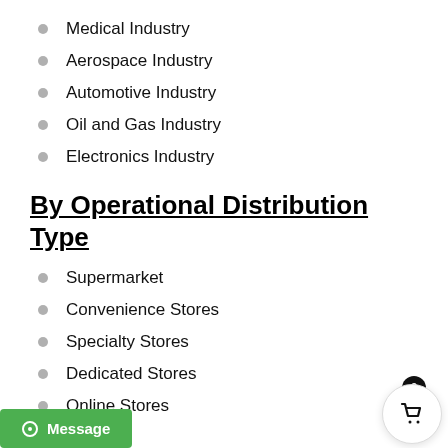Medical Industry
Aerospace Industry
Automotive Industry
Oil and Gas Industry
Electronics Industry
By Operational Distribution Type
Supermarket
Convenience Stores
Specialty Stores
Dedicated Stores
Online Stores